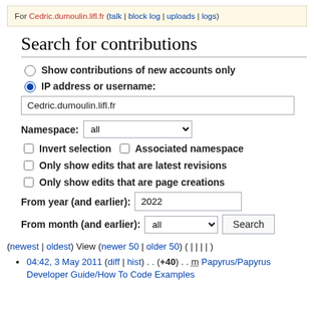For Cedric.dumoulin.lifl.fr (talk | block log | uploads | logs)
Search for contributions
Show contributions of new accounts only
IP address or username: Cedric.dumoulin.lifl.fr
Namespace: all
Invert selection  Associated namespace
Only show edits that are latest revisions
Only show edits that are page creations
From year (and earlier): 2022
From month (and earlier): all  Search
(newest | oldest) View (newer 50 | older 50) ( | | | | )
04:42, 3 May 2011 (diff | hist) . . (+40) . . m Papyrus/Papyrus Developer Guide/How To Code Examples